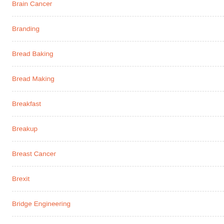Brain Cancer
Branding
Bread Baking
Bread Making
Breakfast
Breakup
Breast Cancer
Brexit
Bridge Engineering
British Cooking